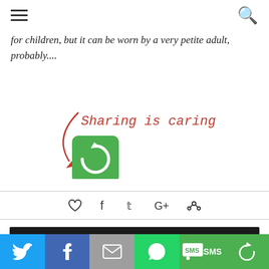[navigation: hamburger menu | search icon]
for children, but it can be worn by a very petite adult, probably....
[Figure (screenshot): Sharing is caring! callout with red handwritten text, arrow pointing to a green share button with circular arrow icon]
[Figure (screenshot): Social sharing icons row: heart, facebook, twitter, google+, pinterest]
[Figure (photo): Baby Blanket text on dark chalkboard background with grey knitted blanket below]
[Figure (screenshot): Bottom social sharing bar with icons: Twitter (blue), Facebook (dark blue), Email (grey), WhatsApp (green), SMS (green), Share (green)]